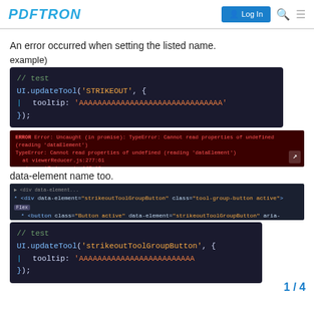PDFTRON | Log In
An error occurred when setting the listed name.
example)
[Figure (screenshot): Dark code block showing: // test
UI.updateTool('STRIKEOUT', {
  tooltip: 'AAAAAAAAAAAAAAAAAAAAAAAAAAAAAAA'
});]
[Figure (screenshot): Red error console: ERROR Error: Uncaught (in promise): TypeError: Cannot read properties of undefined (reading 'dataElement')
TypeError: Cannot read properties of undefined (reading 'dataElement')
  at viewerReducer.js:277:61
  at reactReducer.js:147:10]
data-element name too.
[Figure (screenshot): DOM inspector showing: <div data-element="strikeoutToolGroupButton" class="tool-group-button active"> Flex
  * <button class="Button active" data-element="strikeoutToolGroupButton" aria-label="取り消し
  </div>]
[Figure (screenshot): Dark code block showing: // test
UI.updateTool('strikeoutToolGroupButton', {
  tooltip: 'AAAAAAAAAAAAAAAAAAAAAAAAA...'
});]
1 / 4